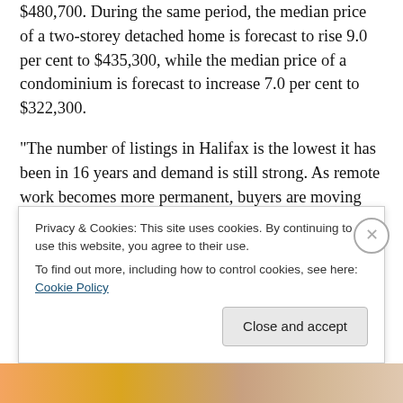$480,700. During the same period, the median price of a two-storey detached home is forecast to rise 9.0 per cent to $435,300, while the median price of a condominium is forecast to increase 7.0 per cent to $322,300.
“The number of listings in Halifax is the lowest it has been in 16 years and demand is still strong. As remote work becomes more permanent, buyers are moving back to the Maritimes,” said Matt Honsberger, broker and owner, Royal LePage Atlantic. “Halifax will continue to be in high demand as buyers from outside of Atlantic Canada seek affordability and the Maritime lifestyle while easily
Privacy & Cookies: This site uses cookies. By continuing to use this website, you agree to their use.
To find out more, including how to control cookies, see here: Cookie Policy